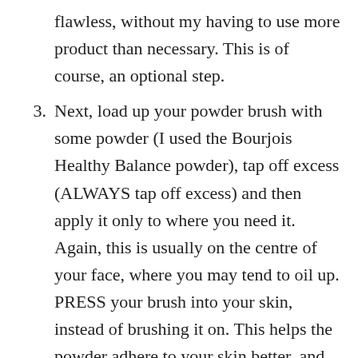flawless, without my having to use more product than necessary. This is of course, an optional step.
Next, load up your powder brush with some powder (I used the Bourjois Healthy Balance powder), tap off excess (ALWAYS tap off excess) and then apply it only to where you need it. Again, this is usually on the centre of your face, where you may tend to oil up. PRESS your brush into your skin, instead of brushing it on. This helps the powder adhere to your skin better, and you can touch up as the day goes on, instead of looking cakey.
And I'm done! I made sure I only use thin layers and the techniques Felix talked about, and I have